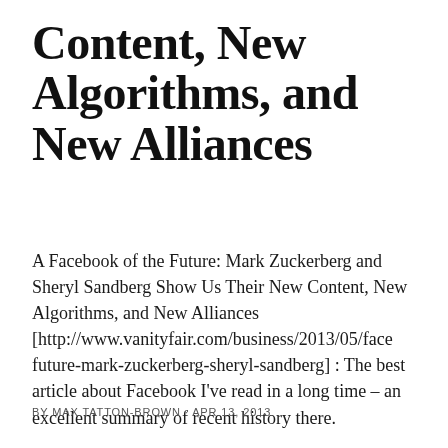Content, New Algorithms, and New Alliances
A Facebook of the Future: Mark Zuckerberg and Sheryl Sandberg Show Us Their New Content, New Algorithms, and New Alliances [http://www.vanityfair.com/business/2013/05/face future-mark-zuckerberg-sheryl-sandberg] : The best article about Facebook I've read in a long time – an excellent summary of recent history there.
BY MAX TATTON-BROWN · APR 13, 2013